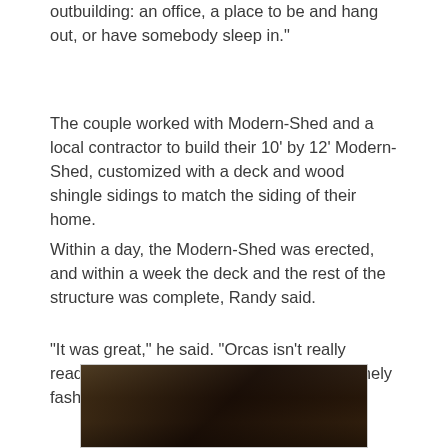outbuilding: an office, a place to be and hang out, or have somebody sleep in.”
The couple worked with Modern-Shed and a local contractor to build their 10’ by 12’ Modern-Shed, customized with a deck and wood shingle sidings to match the siding of their home.
Within a day, the Modern-Shed was erected, and within a week the deck and the rest of the structure was complete, Randy said.
“It was great,” he said. “Orcas isn’t really readily accessible, but they got here in a timely fashion.”
[Figure (photo): Photograph of what appears to be a dark outdoor scene, partially visible at the bottom of the page.]